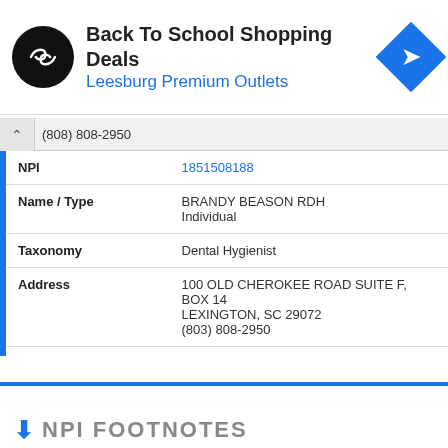[Figure (infographic): Advertisement banner: Back To School Shopping Deals at Leesburg Premium Outlets with logo and navigation arrow icon]
(808) 808-2950
| Field | Value |
| --- | --- |
| NPI | 1851508188 |
| Name / Type | BRANDY BEASON RDH
Individual |
| Taxonomy | Dental Hygienist |
| Address | 100 OLD CHEROKEE ROAD SUITE F, BOX 14
LEXINGTON, SC 29072
(803) 808-2950 |
NPI FOOTNOTES